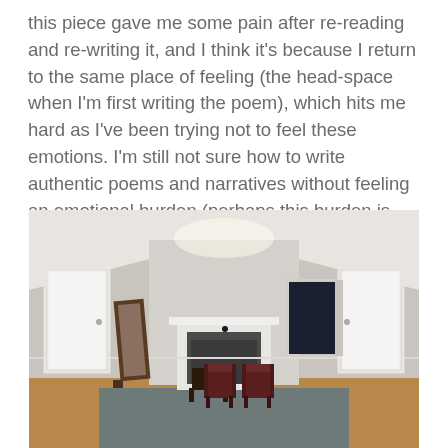this piece gave me some pain after re-reading and re-writing it, and I think it's because I return to the same place of feeling (the head-space when I'm first writing the poem), which hits me hard as I've been trying not to feel these emotions. I'm still not sure how to write authentic poems and narratives without feeling an emotional burden (perhaps this burden is necessary).
[Figure (photo): Interior room photo showing an empty room with vaulted ceiling, a white fireplace in the center, two dark wooden folding chairs on a blue-grey rug, two white doors on either side, and a dark window on the right wall. Hardwood floors visible.]